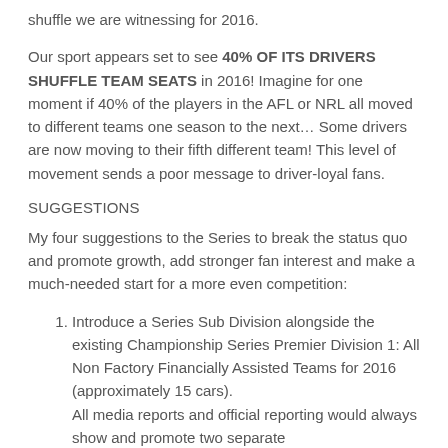shuffle we are witnessing for 2016.
Our sport appears set to see 40% OF ITS DRIVERS SHUFFLE TEAM SEATS in 2016! Imagine for one moment if 40% of the players in the AFL or NRL all moved to different teams one season to the next… Some drivers are now moving to their fifth different team!  This level of movement sends a poor message to driver-loyal fans.
SUGGESTIONS
My four suggestions to the Series to break the status quo and promote growth, add stronger fan interest and make a much-needed start for a more even competition:
Introduce a Series Sub Division alongside the existing Championship Series Premier Division 1: All Non Factory Financially Assisted Teams for 2016 (approximately 15 cars). All media reports and official reporting would always show and promote two separate